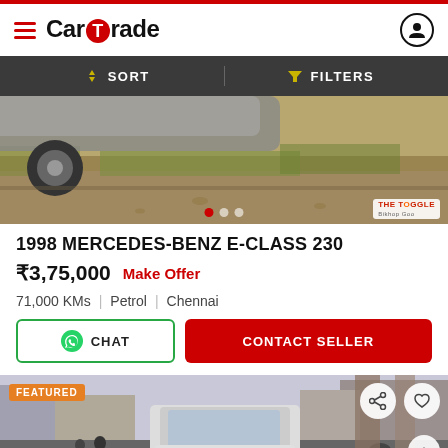CarTrade
SORT   FILTERS
[Figure (photo): Car underside and wheel visible, dusty ground with dry grass, carousel dot navigation, TheToogle watermark]
1998 MERCEDES-BENZ E-CLASS 230
₹3,75,000  Make Offer
71,000 KMs  |  Petrol  |  Chennai
CHAT  CONTACT SELLER
[Figure (photo): FEATURED listing: street scene with cars and motorcycles, white sedan visible from front, share and like action buttons]